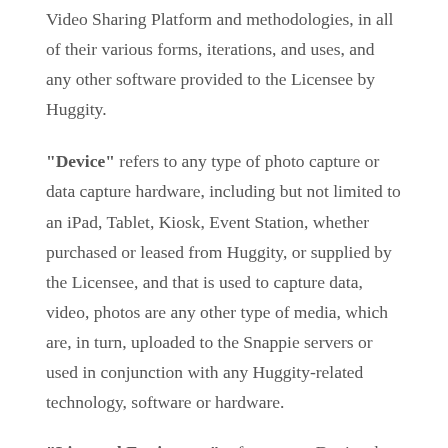Video Sharing Platform and methodologies, in all of their various forms, iterations, and uses, and any other software provided to the Licensee by Huggity.
"Device" refers to any type of photo capture or data capture hardware, including but not limited to an iPad, Tablet, Kiosk, Event Station, whether purchased or leased from Huggity, or supplied by the Licensee, and that is used to capture data, video, photos are any other type of media, which are, in turn, uploaded to the Snappie servers or used in conjunction with any Huggity-related technology, software or hardware.
"Licensed Equipment" refers to any Device that is leased to You by Huggity, or any other hardware or